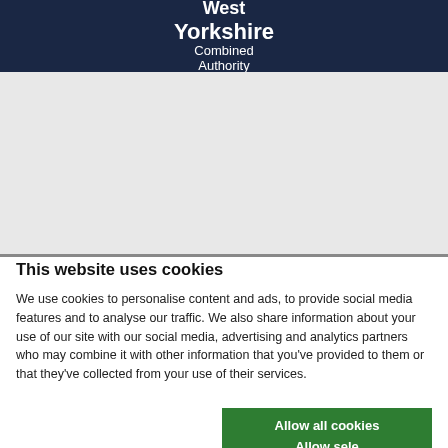West Yorkshire Combined Authority
[Figure (other): Grey placeholder area representing page content area]
This website uses cookies
We use cookies to personalise content and ads, to provide social media features and to analyse our traffic. We also share information about your use of our site with our social media, advertising and analytics partners who may combine it with other information that you've provided to them or that they've collected from your use of their services.
Allow all cookies
Allow selection